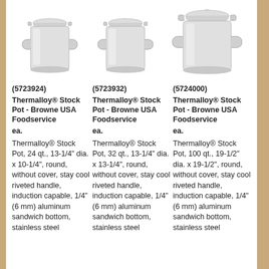[Figure (photo): Three stainless steel stock pots with lids, shown in increasing size from left to right]
(5723924)
Thermalloy® Stock Pot - Browne USA Foodservice
ea.
Thermalloy® Stock Pot, 24 qt., 13-1/4" dia. x 10-1/4", round, without cover, stay cool riveted handle, induction capable, 1/4" (6 mm) aluminum sandwich bottom, stainless steel...
(5723932)
Thermalloy® Stock Pot - Browne USA Foodservice
ea.
Thermalloy® Stock Pot, 32 qt., 13-1/4" dia. x 13-1/4", round, without cover, stay cool riveted handle, induction capable, 1/4" (6 mm) aluminum sandwich bottom, stainless steel...
(5724000)
Thermalloy® Stock Pot - Browne USA Foodservice
ea.
Thermalloy® Stock Pot, 100 qt., 19-1/2" dia. x 19-1/2", round, without cover, stay cool riveted handle, induction capable, 1/4" (6 mm) aluminum sandwich bottom, stainless steel...